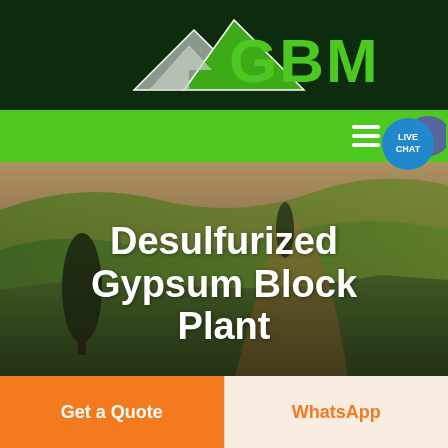[Figure (logo): GBM company logo with mountain/peak icon in green and grey on dark green background, with green bold text 'GBM']
[Figure (screenshot): Green navigation bar with white hamburger menu icon and live chat bubble (blue circle with 'LIVE CHAT' text and speech bubble icon)]
[Figure (photo): Aerial photo of agricultural fields with rolling hills in green and brown/orange tones, with tall cypress trees visible]
Desulfurized Gypsum Block Plant
Get a Quote
WhatsApp